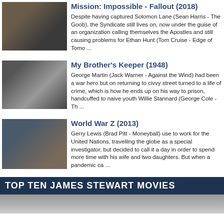[Figure (photo): Movie still from Mission: Impossible - Fallout (2018) showing group of actors in suits]
Mission: Impossible - Fallout (2018)
Despite having captured Solomon Lane (Sean Harris - The Goob), the Syndicate still lives on, now under the guise of an organization calling themselves the Apostles and still causing problems for Ethan Hunt (Tom Cruise - Edge of Tomo ...
[Figure (photo): Black and white movie still from My Brother's Keeper (1948) showing two men]
My Brother's Keeper (1948)
George Martin (Jack Warner - Against the Wind) had been a war hero but on returning to civvy street turned to a life of crime, which is how he ends up on his way to prison, handcuffed to naive youth Willie Stannard (George Cole - Th ...
[Figure (photo): Movie still from World War Z (2013) showing Brad Pitt on an airplane]
World War Z (2013)
Gerry Lewis (Brad Pitt - Moneyball) use to work for the United Nations, travelling the globe as a special investigator, but decided to call it a day in order to spend more time with his wife and two daughters. But when a pandemic ca ...
TOP TEN JAMES STEWART MOVIES
[Figure (photo): Partial movie still for Top Ten James Stewart Movies section showing a hat]